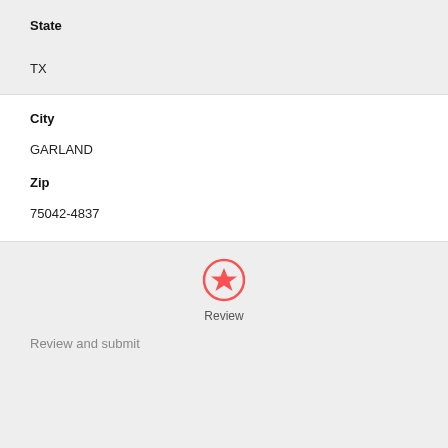State
TX
City
GARLAND
Zip
75042-4837
[Figure (illustration): Review button icon — red circle outline with a red star inside]
Review
Review and submit